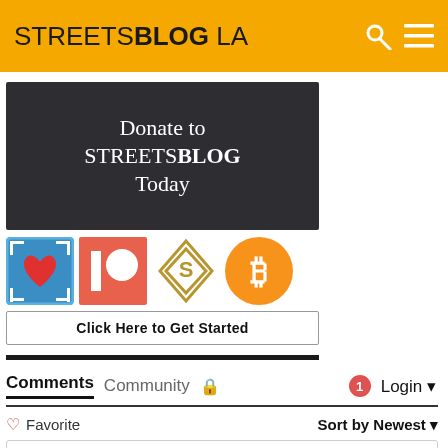STREETSBLOG LA
[Figure (illustration): Donate to STREETSBLOG Today banner with dark background and white serif text]
[Figure (illustration): Four payment/donation method icons: a blue heart icon, Patreon logo (orange/red), a gold diamond/S logo, and Bitcoin (orange circle with B)]
Click Here to Get Started
Comments  Community  [lock icon]   [1 notification]  Login
♡ Favorite   Sort by Newest
Join the discussion...